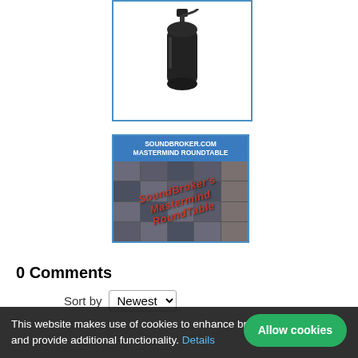[Figure (photo): Black microphone on a stand/mount, product photo with white background inside a blue-bordered box]
[Figure (screenshot): SoundBroker.com Mastermind Roundtable banner: blue header with white text 'SOUNDBROKER.COM MASTERMIND ROUNDTABLE' above a collage of video call participants with red italic overlay text reading 'SoundBroker's Mastermind RoundTable']
0 Comments
Sort by Newest
This website makes use of cookies to enhance browsing experience and provide additional functionality. Details
Allow cookies